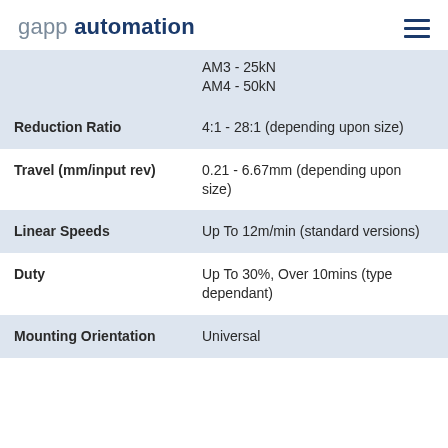gapp automation
| Property | Value |
| --- | --- |
|  | AM3 - 25kN
AM4 - 50kN |
| Reduction Ratio | 4:1 - 28:1 (depending upon size) |
| Travel (mm/input rev) | 0.21 - 6.67mm (depending upon size) |
| Linear Speeds | Up To 12m/min (standard versions) |
| Duty | Up To 30%, Over 10mins (type dependant) |
| Mounting Orientation | Universal |